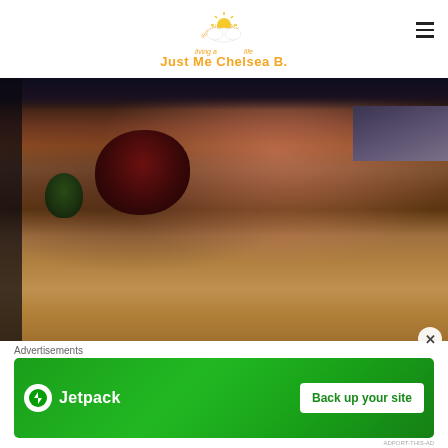[Figure (logo): Just Me Chelsea B. blog logo — sunshine filled living a life — sun and cloud icon in yellow/orange]
[Figure (photo): Outdoor photo taken at dusk showing a brown dormant lawn with a dark red/maroon bush in the center and a small green bushy shrub to the left, with a road and houses visible in the dark background]
Advertisements
[Figure (screenshot): Jetpack advertisement banner on green background: Jetpack logo on left, 'Back up your site' button on right]